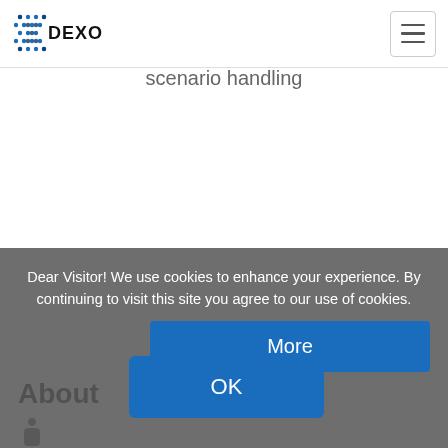XDEXON logo and navigation menu
Versatile user interface for layout management with sophisticated scenario handling
Dear Visitor! We use cookies to enhance your experience. By continuing to visit this site you agree to our use of cookies.
About